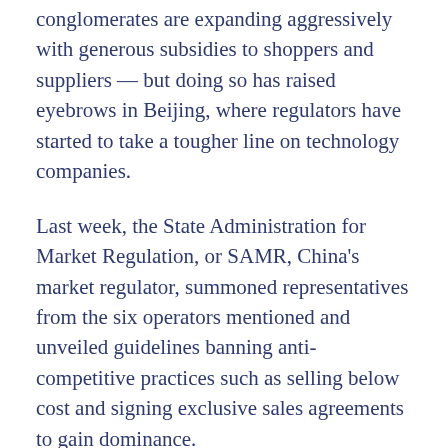conglomerates are expanding aggressively with generous subsidies to shoppers and suppliers — but doing so has raised eyebrows in Beijing, where regulators have started to take a tougher line on technology companies.
Last week, the State Administration for Market Regulation, or SAMR, China's market regulator, summoned representatives from the six operators mentioned and unveiled guidelines banning anti-competitive practices such as selling below cost and signing exclusive sales agreements to gain dominance.
The SAMR said community group-buying